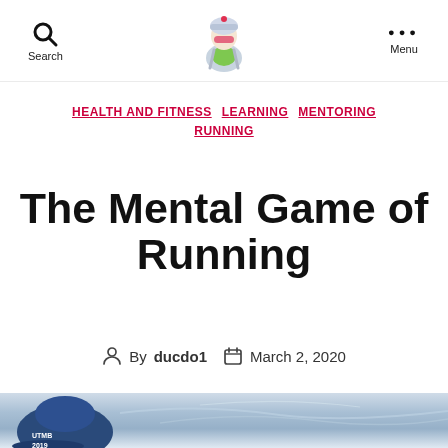Search  [logo]  Menu
HEALTH AND FITNESS  LEARNING  MENTORING  RUNNING
The Mental Game of Running
By ducdo1   March 2, 2020
[Figure (photo): Hero image showing runner cap with UTMB 2019 text against a snowy mountain background]